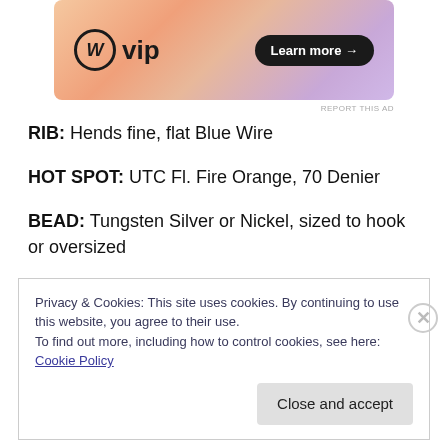[Figure (screenshot): WordPress VIP advertisement banner with orange/purple gradient background, WP logo and Learn more button]
RIB: Hends fine, flat Blue Wire
HOT SPOT: UTC Fl. Fire Orange, 70 Denier
BEAD: Tungsten Silver or Nickel, sized to hook or oversized
UV Resin: Deer Creek, Fine
Privacy & Cookies: This site uses cookies. By continuing to use this website, you agree to their use.
To find out more, including how to control cookies, see here: Cookie Policy